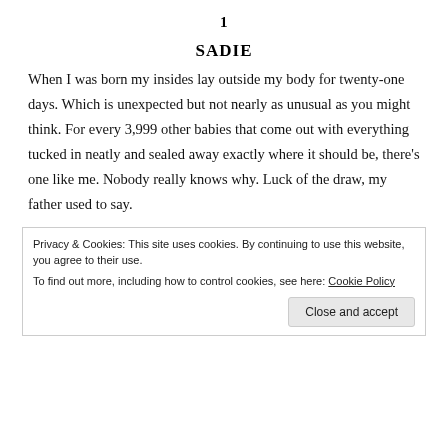1
SADIE
When I was born my insides lay outside my body for twenty-one days. Which is unexpected but not nearly as unusual as you might think. For every 3,999 other babies that come out with everything tucked in neatly and sealed away exactly where it should be, there’s one like me. Nobody really knows why. Luck of the draw, my father used to say.
Privacy & Cookies: This site uses cookies. By continuing to use this website, you agree to their use.
To find out more, including how to control cookies, see here: Cookie Policy
Close and accept